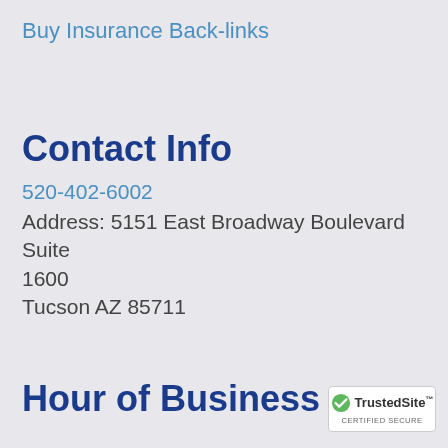Buy Insurance Back-links
Contact Info
520-402-6002
Address: 5151 East Broadway Boulevard Suite 1600
Tucson AZ 85711
Hour of Business
[Figure (logo): TrustedSite Certified Secure badge with green checkmark]